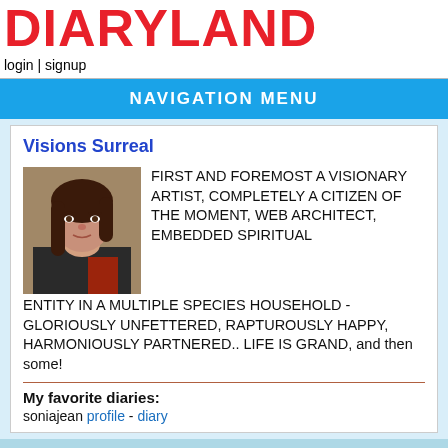DIARYLAND
login | signup
NAVIGATION MENU
Visions Surreal
[Figure (photo): Profile photo of a woman with dark hair looking at camera, wearing dark clothing]
FIRST AND FOREMOST A VISIONARY ARTIST, COMPLETELY A CITIZEN OF THE MOMENT, WEB ARCHITECT, EMBEDDED SPIRITUAL ENTITY IN A MULTIPLE SPECIES HOUSEHOLD - GLORIOUSLY UNFETTERED, RAPTUROUSLY HAPPY, HARMONIOUSLY PARTNERED.. LIFE IS GRAND, and then some!
My favorite diaries:
soniajean profile - diary